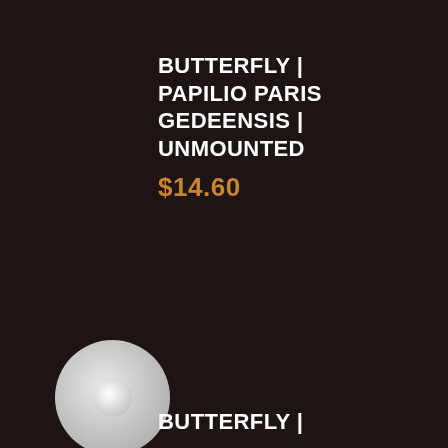BUTTERFLY | PAPILIO PARIS GEDEENSIS | UNMOUNTED
$14.60
[Figure (photo): Circular product image of a butterfly specimen, shown as a round light gray disc with a small central highlight, on dark brown background]
BUTTERFLY |